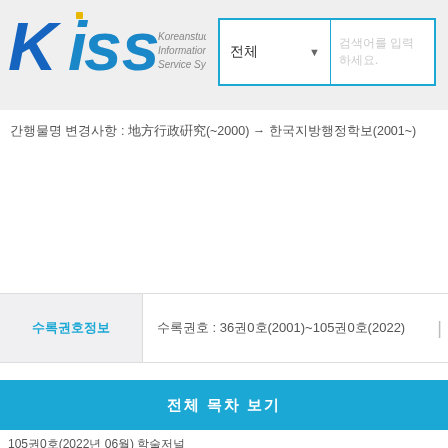[Figure (logo): KISS (Koreanstudies Information Service System) logo with blue stylized letters and subtitle text]
간행물명 변경사항 : 地方行政硏究(~2000) → 한국지방행정학보(2001~)
수록권호 : 36권0호(2001)~105권0호(2022)
수록권호정보
전체 목차 보기
105권0호(2022년 06월) 학술저널